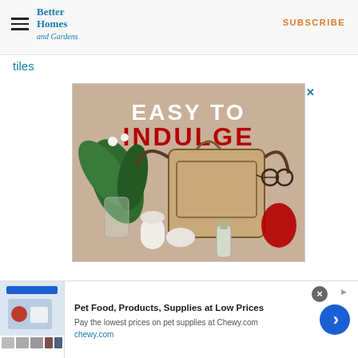Better Homes and Gardens — SUBSCRIBE
tiles
[Figure (photo): Advertisement image with text 'EASY TO INDULGE' overlaid on a beige background showing a handbag, flowers, candles, and accessories]
[Figure (infographic): Bottom banner advertisement for Chewy.com: 'Pet Food, Products, Supplies at Low Prices — Pay the lowest prices on pet supplies at Chewy.com — chewy.com' with thumbnail product images and a blue arrow button]